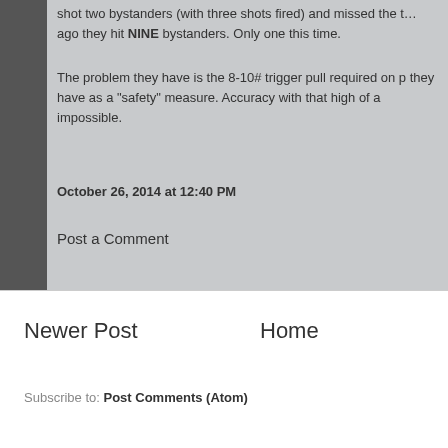shot two bystanders (with three shots fired) and missed the target. A while ago they hit NINE bystanders. Only one this time.
The problem they have is the 8-10# trigger pull required on p they have as a "safety" measure. Accuracy with that high of a impossible.
October 26, 2014 at 12:40 PM
Post a Comment
Newer Post
Home
Subscribe to: Post Comments (Atom)